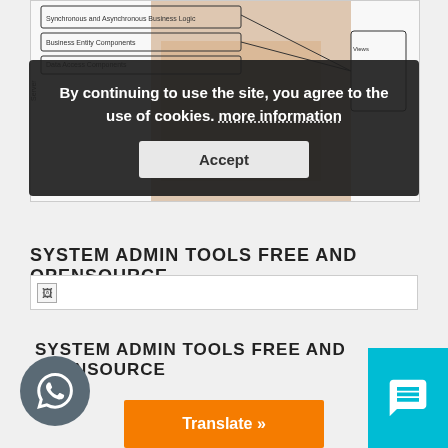[Figure (engineering-diagram): Engineering/architecture diagram showing layered system components with boxes and arrows, partially obscured by a cookie consent overlay and a hand]
By continuing to use the site, you agree to the use of cookies. more information
Accept
SYSTEM ADMIN TOOLS FREE AND OPENSOURCE
[Figure (other): Broken image placeholder icon]
SYSTEM ADMIN TOOLS FREE AND OPENSOURCE
Translate »